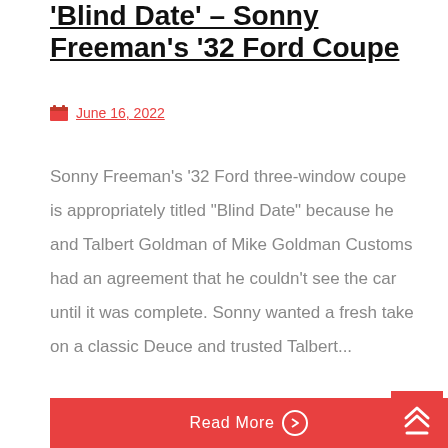'Blind Date' – Sonny Freeman's '32 Ford Coupe
June 16, 2022
Sonny Freeman's '32 Ford three-window coupe is appropriately titled "Blind Date" because he and Talbert Goldman of Mike Goldman Customs had an agreement that he couldn't see the car until it was complete. Sonny wanted a fresh take on a classic Deuce and trusted Talbert...
Read More